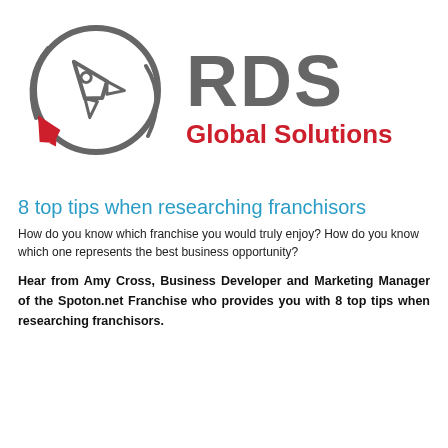[Figure (logo): RDS Global Solutions logo: rocket/compass circle icon with red pen nib, and 'RDS' in large gray bold letters with 'Global Solutions' in red below]
8 top tips when researching franchisors
How do you know which franchise you would truly enjoy? How do you know which one represents the best business opportunity?
Hear from Amy Cross, Business Developer and Marketing Manager of the Spoton.net Franchise who provides you with 8 top tips when researching franchisors.